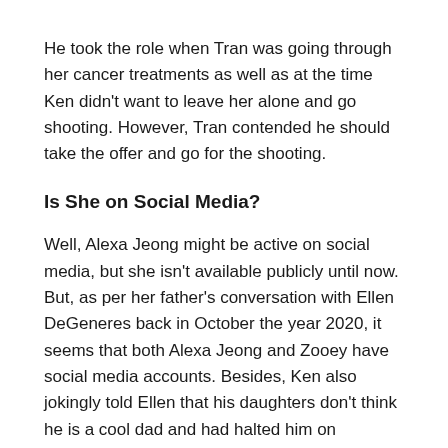He took the role when Tran was going through her cancer treatments as well as at the time Ken didn't want to leave her alone and go shooting. However, Tran contended he should take the offer and go for the shooting.
Is She on Social Media?
Well, Alexa Jeong might be active on social media, but she isn't available publicly until now. But, as per her father's conversation with Ellen DeGeneres back in October the year 2020, it seems that both Alexa Jeong and Zooey have social media accounts. Besides, Ken also jokingly told Ellen that his daughters don't think he is a cool dad and had halted him on Instagram and muted him on Twitter.